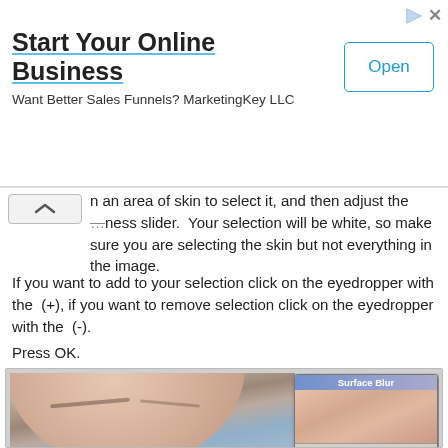[Figure (screenshot): Advertisement banner: 'Start Your Online Business' with Open button. Want Better Sales Funnels? MarketingKey LLC]
n an area of skin to select it, and then adjust the …ness slider. Your selection will be white, so make sure you are selecting the skin but not everything in the image.
If you want to add to your selection click on the eyedropper with the (+), if you want to remove selection click on the eyedropper with the (-).
Press OK.
[Figure (screenshot): Screenshot of Photoshop with a baby photo and Surface Blur dialog box open showing OK, Cancel, Preview checkbox, 100% zoom, and Radius: 5 pixels.]